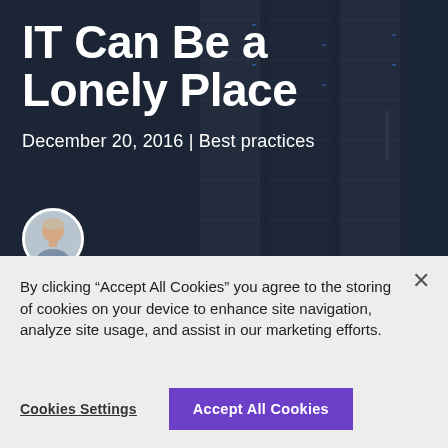[Figure (photo): Dark server rack room with blurred background, used as hero image behind the article title]
IT Can Be a Lonely Place
December 20, 2016 | Best practices
[Figure (photo): Circular author headshot of a man in the lower left of the hero image]
By clicking “Accept All Cookies” you agree to the storing of cookies on your device to enhance site navigation, analyze site usage, and assist in our marketing efforts.
Cookies Settings
Accept All Cookies